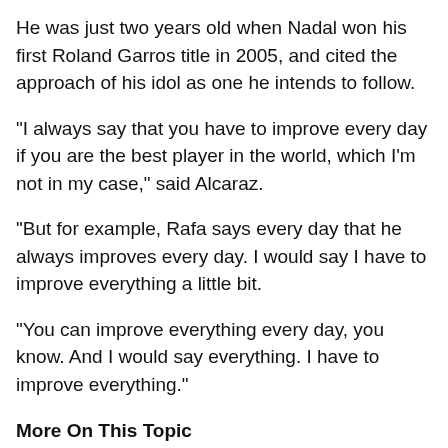He was just two years old when Nadal won his first Roland Garros title in 2005, and cited the approach of his idol as one he intends to follow.
"I always say that you have to improve every day if you are the best player in the world, which I'm not in my case," said Alcaraz.
"But for example, Rafa says every day that he always improves every day. I would say I have to improve everything a little bit.
"You can improve everything every day, you know. And I would say everything. I have to improve everything."
More On This Topic
Tennis: Alcaraz, 18, becomes youngest player in ATP's top 10 since Nadal